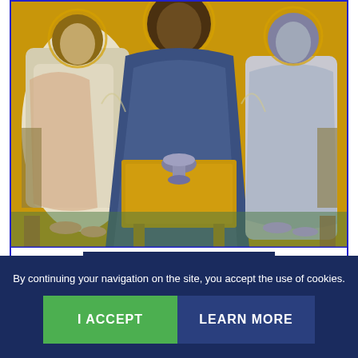[Figure (illustration): Byzantine icon painting showing three figures (angels or holy figures) seated around a table with a chalice/cup in the center, rendered in gold and earth tones in the style of Andrei Rublev's Trinity icon. Figures are robed in white/grey/blue garments against a golden background.]
LARGER VIEW
| Part Number | ICC003 |
| --- | --- |
By continuing your navigation on the site, you accept the use of cookies.
I ACCEPT
LEARN MORE